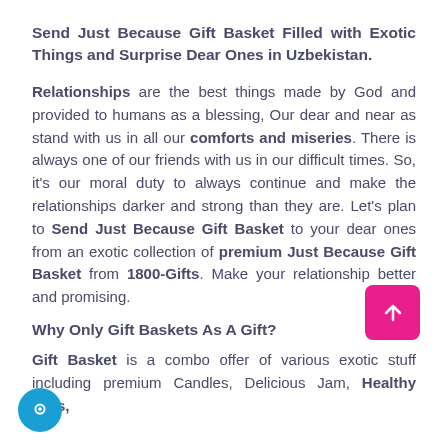Send Just Because Gift Basket Filled with Exotic Things and Surprise Dear Ones in Uzbekistan.
Relationships are the best things made by God and provided to humans as a blessing, Our dear and near as stand with us in all our comforts and miseries. There is always one of our friends with us in our difficult times. So, it's our moral duty to always continue and make the relationships darker and strong than they are. Let's plan to Send Just Because Gift Basket to your dear ones from an exotic collection of premium Just Because Gift Basket from 1800-Gifts. Make your relationship better and promising.
Why Only Gift Baskets As A Gift?
Gift Basket is a combo offer of various exotic stuff including premium Candles, Delicious Jam, Healthy Nuts,